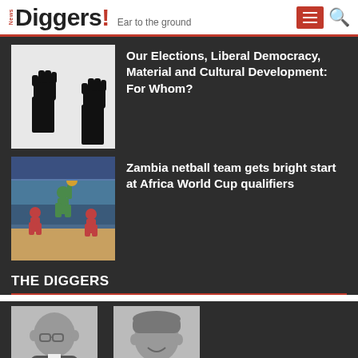News Diggers! Ear to the ground
[Figure (illustration): Black and white illustration of raised fist silhouettes against a white background]
Our Elections, Liberal Democracy, Material and Cultural Development: For Whom?
[Figure (photo): Zambia netball team players in action at a sports arena]
Zambia netball team gets bright start at Africa World Cup qualifiers
THE DIGGERS
[Figure (photo): Black and white photo of Joseph Mwenda, Editor-in-Chief]
Joseph Mwenda
EDITOR-IN-CHIEF
[Figure (photo): Black and white photo of Mukosha Funga Njenga, Managing Editor]
Mukosha Funga Njenga
MANAGING EDITOR